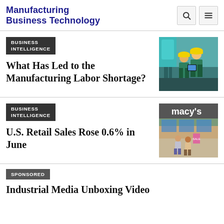Manufacturing Business Technology
BUSINESS INTELLIGENCE
What Has Led to the Manufacturing Labor Shortage?
[Figure (photo): Two workers in hard hats and green coveralls looking at a tablet in an industrial setting]
BUSINESS INTELLIGENCE
U.S. Retail Sales Rose 0.6% in June
[Figure (photo): People walking in front of Macy's store]
SPONSORED
Industrial Media Unboxing Video